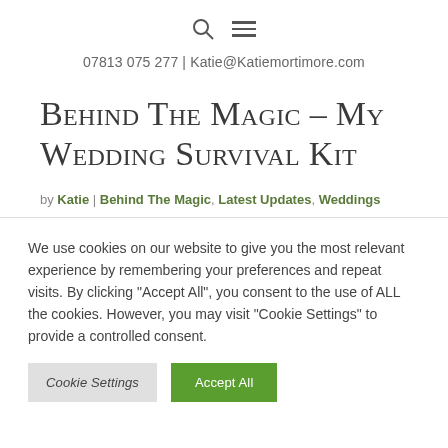🔍 ≡
07813 075 277 | Katie@Katiemortimore.com
Behind The Magic – My Wedding Survival Kit
by Katie | Behind The Magic, Latest Updates, Weddings
We use cookies on our website to give you the most relevant experience by remembering your preferences and repeat visits. By clicking "Accept All", you consent to the use of ALL the cookies. However, you may visit "Cookie Settings" to provide a controlled consent.
Cookie Settings | Accept All